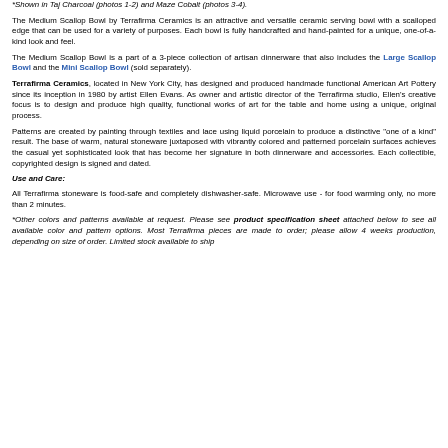*Shown in Taj Charcoal (photos 1-2) and Maze Cobalt (photos 3-4).
The Medium Scallop Bowl by Terrafirma Ceramics is an attractive and versatile ceramic serving bowl with a scalloped edge that can be used for a variety of purposes. Each bowl is fully handcrafted and hand-painted for a unique, one-of-a-kind look and feel.
The Medium Scallop Bowl is a part of a 3-piece collection of artisan dinnerware that also includes the Large Scallop Bowl and the Mini Scallop Bowl (sold separately).
Terrafirma Ceramics, located in New York City, has designed and produced handmade functional American Art Pottery since its inception in 1980 by artist Ellen Evans. As owner and artistic director of the Terrafirma studio, Ellen's creative focus is to design and produce high quality, functional works of art for the table and home using a unique, original process.
Patterns are created by painting through textiles and lace using liquid porcelain to produce a distinctive "one of a kind" result. The base of warm, natural stoneware juxtaposed with vibrantly colored and patterned porcelain surfaces achieves the casual yet sophisticated look that has become her signature in both dinnerware and accessories. Each collectible, copyrighted design is signed and dated.
Use and Care:
All Terrafirma stoneware is food-safe and completely dishwasher-safe. Microwave use - for food warming only, no more than 2 minutes.
*Other colors and patterns available at request. Please see product specification sheet attached below to see all available color and pattern options. Most Terrafirma pieces are made to order; please allow 4 weeks production, depending on size of order. Limited stock available to ship immediately.